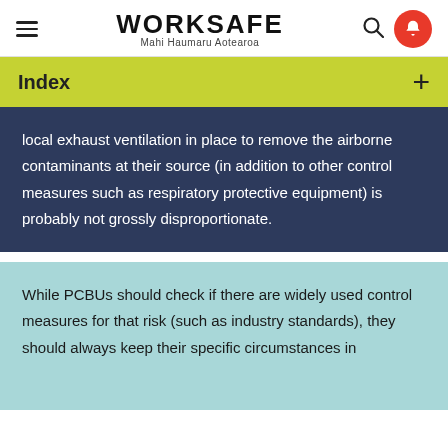WORKSAFE Mahi Haumaru Aotearoa
Index
local exhaust ventilation in place to remove the airborne contaminants at their source (in addition to other control measures such as respiratory protective equipment) is probably not grossly disproportionate.
While PCBUs should check if there are widely used control measures for that risk (such as industry standards), they should always keep their specific circumstances in